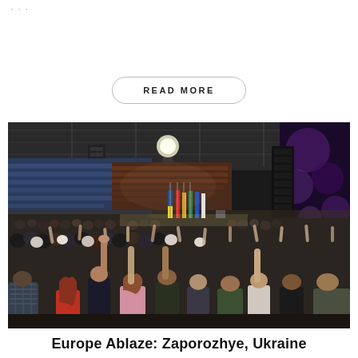...
READ MORE
[Figure (photo): A large indoor arena filled with a crowd of people, many with hands raised, attending what appears to be a religious gathering or revival event. Colorful flags are visible on a stage at the front, and the arena has blue and red stadium seating visible in the background. Stage lighting illuminates the scene from above.]
Europe Ablaze: Zaporozhye, Ukraine